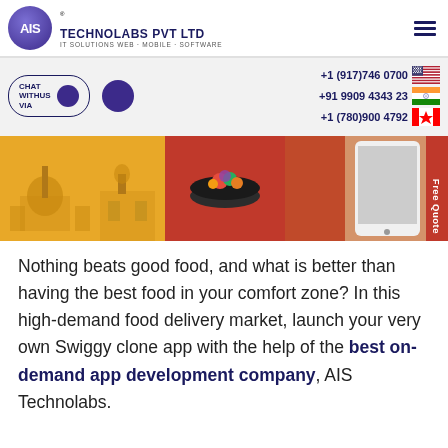[Figure (logo): AIS Technolabs Pvt Ltd logo — purple circle with AIS text, company name and tagline IT Solutions Web Mobile Software]
+1 (917)746 0700
+91 9909 4343 23
+1 (780)900 4792
CHAT WITHUS VIA
[Figure (photo): Hero banner showing Indian monuments on orange background on left, food bowl in center, person holding smartphone on right with red background]
Free Quote
Nothing beats good food, and what is better than having the best food in your comfort zone? In this high-demand food delivery market, launch your very own Swiggy clone app with the help of the best on-demand app development company, AIS Technolabs.